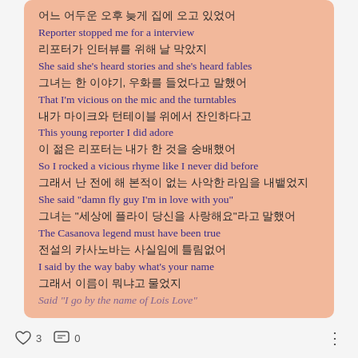어느 어두운 오후 늦게 집에 오고 있었어
Reporter stopped me for a interview
리포터가 인터뷰를 위해 날 막았지
She said she's heard stories and she's heard fables
그녀는 한 이야기, 우화를 들었다고 말했어
That I'm vicious on the mic and the turntables
내가 마이크와 턴테이블 위에서 잔인하다고
This young reporter I did adore
이 젊은 리포터는 내가 한 것을 숭배했어
So I rocked a vicious rhyme like I never did before
그래서 난 전에 해 본적이 없는 사악한 라임을 내뱉었지
She said "damn fly guy I'm in love with you"
그녀는 "세상에 플라이 당신을 사랑해요"라고 말했어
The Casanova legend must have been true
전설의 카사노바는 사실임에 틀림없어
I said by the way baby what's your name
그래서 이름이 뭐냐고 물었지
Said "I go by the name of Lois Love"
♡ 3  💬 0